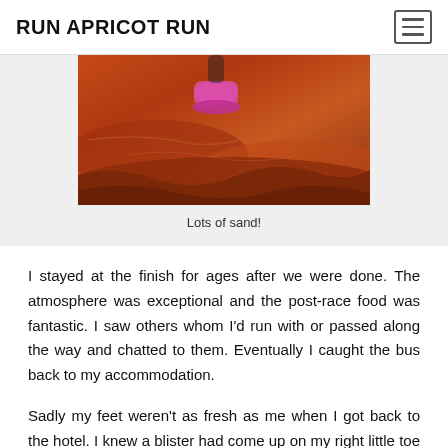RUN APRICOT RUN
[Figure (photo): Close-up photo of a runner's shoe on red sandy desert terrain, with orange-red rock and sand formations visible.]
Lots of sand!
I stayed at the finish for ages after we were done. The atmosphere was exceptional and the post-race food was fantastic. I saw others whom I'd run with or passed along the way and chatted to them. Eventually I caught the bus back to my accommodation.
Sadly my feet weren't as fresh as me when I got back to the hotel. I knew a blister had come up on my right little toe during the event but it hadn't really caused